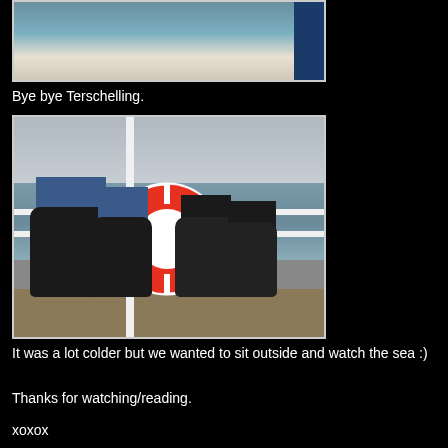[Figure (photo): Partial photo of a boat/ferry at sea, showing water and a blue stripe, cropped at top]
Bye bye Terschelling.
[Figure (photo): Two people sitting on the back deck of a ferry with their legs up on the railing, showing black boots and jeans, with a red and white life ring visible, sea and wake in the background]
It was a lot colder but we wanted to sit outside and watch the sea :)
Thanks for watching/reading.
xoxox